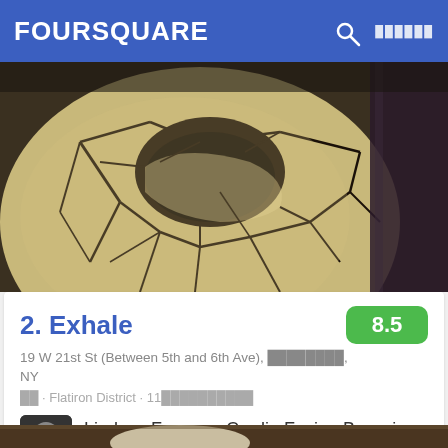FOURSQUARE
[Figure (photo): Close-up photo of a cracked ceramic or porcelain mask/sculpture with black crackle pattern on white/cream surface, dark background]
2.  Exhale
19 W 21st St (Between 5th and 6th Ave), ████████, NY
██ · Flatiron District · 11██████████
Lindsey Frances: Cardio Fusion Barre is no joke
[Figure (photo): Partial bottom photo strip showing what appears to be a shoe/sneaker on a textured surface]